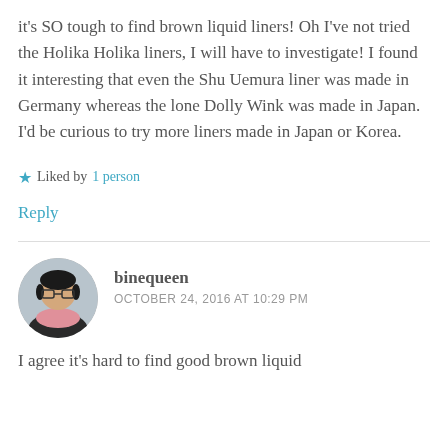it's SO tough to find brown liquid liners! Oh I've not tried the Holika Holika liners, I will have to investigate! I found it interesting that even the Shu Uemura liner was made in Germany whereas the lone Dolly Wink was made in Japan. I'd be curious to try more liners made in Japan or Korea.
★ Liked by 1 person
Reply
binequeen
OCTOBER 24, 2016 AT 10:29 PM
I agree it's hard to find good brown liquid